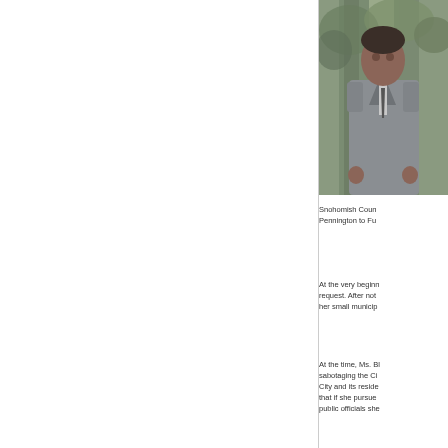[Figure (photo): A man in a grey suit standing outdoors with trees in the background, partially cropped on the right side of the page.]
Snohomish Coun Pennington to Fu
At the very beginn request. After not her small municip
At the time, Ms. Bl sabotaging the Ci City and its reside that if she pursue public officials she